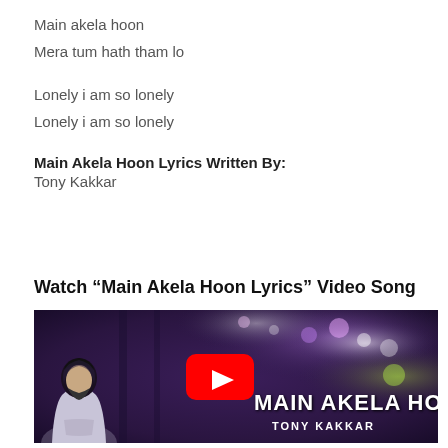Main akela hoon
Mera tum hath tham lo
Lonely i am so lonely
Lonely i am so lonely
Main Akela Hoon Lyrics Written By:
Tony Kakkar
Watch “Main Akela Hoon Lyrics” Video Song
[Figure (screenshot): YouTube video thumbnail for 'Main Akela Hoon' by Tony Kakkar, showing an animated man in a hoodie with blurred city lights background and a YouTube play button overlay. Text reads 'MAIN AKELA HOON' and 'TONY KAKKAR'.]